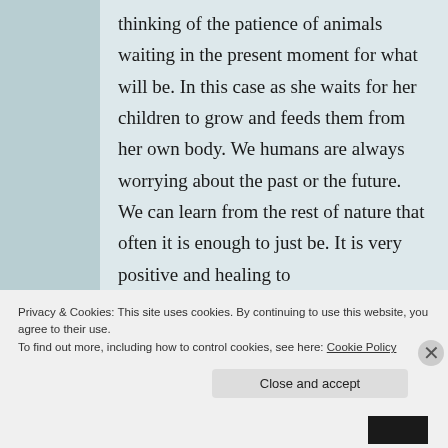thinking of the patience of animals waiting in the present moment for what will be. In this case as she waits for her children to grow and feeds them from her own body. We humans are always worrying about the past or the future. We can learn from the rest of nature that often it is enough to just be. It is very positive and healing to
Privacy & Cookies: This site uses cookies. By continuing to use this website, you agree to their use.
To find out more, including how to control cookies, see here: Cookie Policy
Close and accept